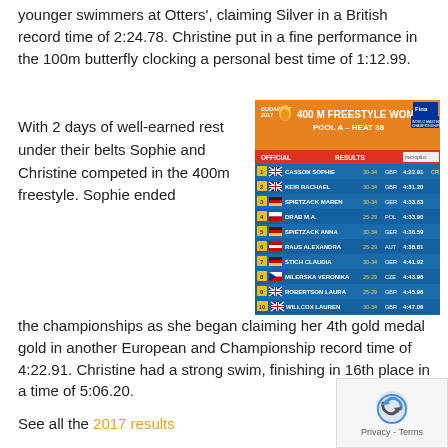younger swimmers at Otters', claiming Silver in a British record time of 2:24.78. Christine put in a fine performance in the 100m butterfly clocking a personal best time of 1:12.99.
With 2 days of well-earned rest under their belts Sophie and Christine competed in the 400m freestyle. Sophie ended the championships as she began claiming her 4th gold medal gold in another European and Championship record time of 4:22.91. Christine had a strong swim, finishing in 16th place in a time of 5:06.20.
[Figure (table-as-image): FINA World Masters Championships Budapest 2017 - 400 M FREESTYLE WOMEN POOL A - HEAT 38 official results table showing top 10 finishers with positions, flags, names, age groups, countries and times]
See all the 2017 results